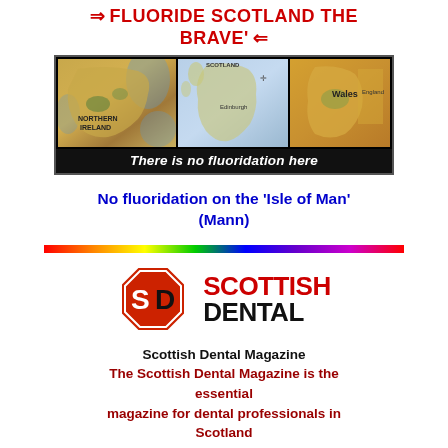⇒ FLUORIDE SCOTLAND THE BRAVE' ⇐
[Figure (map): Three maps side by side showing Northern Ireland, Scotland, and Wales with caption 'There is no fluoridation here']
No fluoridation on the 'Isle of Man' (Mann)
[Figure (logo): Scottish Dental logo: red octagon with 'SD' letters and 'SCOTTISH DENTAL' text]
Scottish Dental Magazine The Scottish Dental Magazine is the essential magazine for dental professionals in Scotland